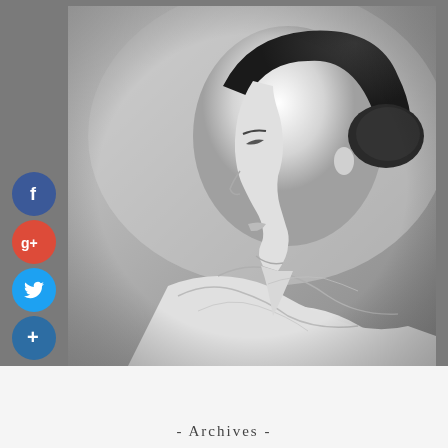[Figure (photo): Black and white portrait photograph of a young woman in profile view, facing left, wearing a white lace blouse, with dark hair pinned up.]
[Figure (infographic): Four circular social media share buttons on the left side: Facebook (blue, 'f'), Google+ (red, 'g+'), Twitter (light blue, bird icon), and a dark blue plus button.]
- Archives -